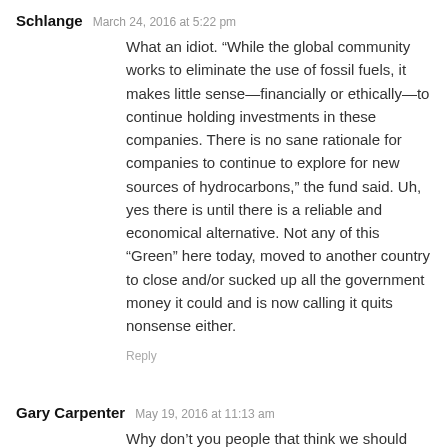Schlange   March 24, 2016 at 5:22 pm
What an idiot. “While the global community works to eliminate the use of fossil fuels, it makes little sense—financially or ethically—to continue holding investments in these companies. There is no sane rationale for companies to continue to explore for new sources of hydrocarbons,” the fund said. Uh, yes there is until there is a reliable and economical alternative. Not any of this “Green” here today, moved to another country to close and/or sucked up all the government money it could and is now calling it quits nonsense either.
Reply
Gary Carpenter   May 19, 2016 at 11:13 am
Why don’t you people that think we should just go ahead and stop drilling and exploration, start right now and lead by example. Be the first one on the block to get a bike, don’t get a ride in any vehicle( trains, planes, automobiles).